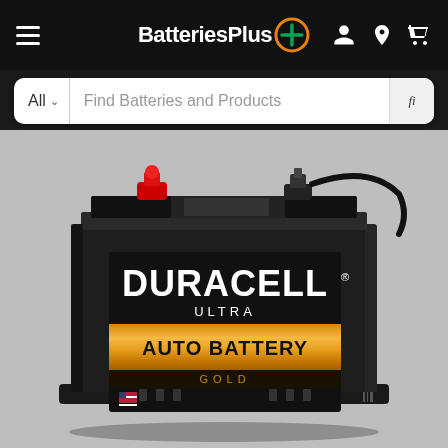BatteriesPlus+ navigation bar with hamburger menu, logo, and icons for account, location, and cart
All  |  Find Batteries and Products
[Figure (photo): Duracell Ultra Auto Battery Gold - a large black car battery with a black label showing DURACELL in white bold letters, ULTRA below it, and AUTO BATTERY on a gold/copper colored band, with GOLD written below that. A small US flag is visible in the lower left of the label. The battery has black terminals on top and a red positive terminal cover partially visible.]